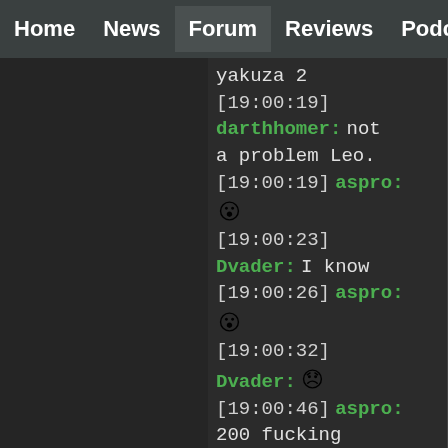Home | News | Forum | Reviews | Podcast
yakuza 2  21:02UTC
[19:00:19]
darthhomer: not a problem Leo.
[19:00:19] aspro: 😮
[19:00:23]
Dvader: I know
[19:00:26] aspro: 😮
[19:00:32]
Dvader: 😞
[19:00:46] aspro: 200 fucking games and one of them can't be Yakuza 2?
[19:00:51] aspro: